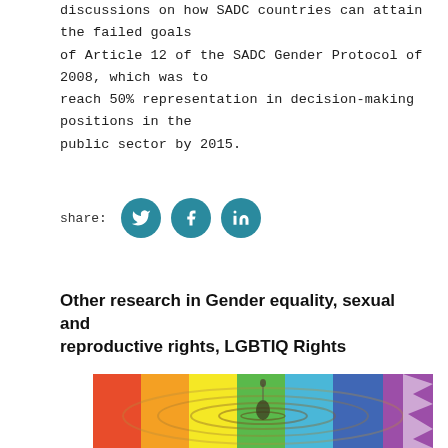discussions on how SADC countries can attain the failed goals of Article 12 of the SADC Gender Protocol of 2008, which was to reach 50% representation in decision-making positions in the public sector by 2015.
[Figure (infographic): Social share buttons row: share label followed by three circular teal buttons with Twitter bird, Facebook f, and LinkedIn in icons]
Other research in Gender equality, sexual and reproductive rights, LGBTIQ Rights
[Figure (photo): A water droplet falling into a surface covered with rainbow-colored ripples representing LGBTIQ pride colors]